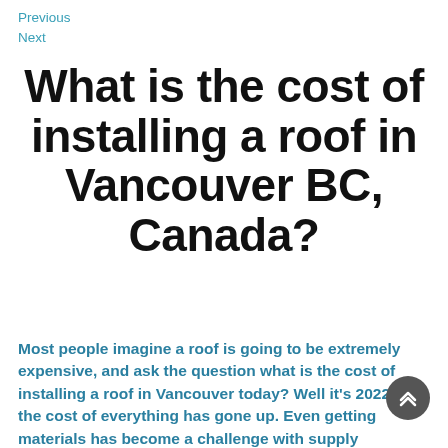Previous
Next
What is the cost of installing a roof in Vancouver BC, Canada?
Most people imagine a roof is going to be extremely expensive, and ask the question what is the cost of installing a roof in Vancouver today? Well it's 2022 and the cost of everything has gone up. Even getting materials has become a challenge with supply shortages everywhere. The average cost of a roof will be...